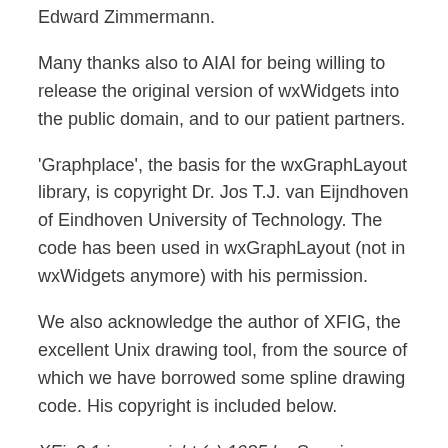Edward Zimmermann.
Many thanks also to AIAI for being willing to release the original version of wxWidgets into the public domain, and to our patient partners.
'Graphplace', the basis for the wxGraphLayout library, is copyright Dr. Jos T.J. van Eijndhoven of Eindhoven University of Technology. The code has been used in wxGraphLayout (not in wxWidgets anymore) with his permission.
We also acknowledge the author of XFIG, the excellent Unix drawing tool, from the source of which we have borrowed some spline drawing code. His copyright is included below.
XFig2.1 is copyright (c) 1985 by Supoj Sutanthavibul.